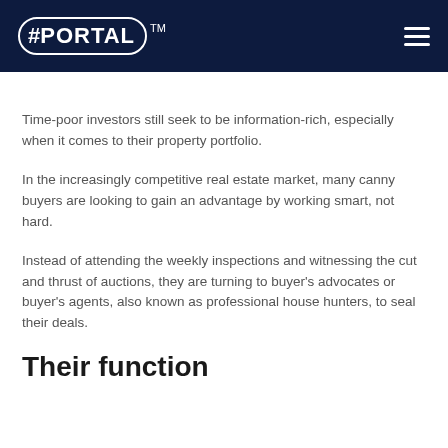#PORTAL TM
Time-poor investors still seek to be information-rich, especially when it comes to their property portfolio.
In the increasingly competitive real estate market, many canny buyers are looking to gain an advantage by working smart, not hard.
Instead of attending the weekly inspections and witnessing the cut and thrust of auctions, they are turning to buyer's advocates or buyer's agents, also known as professional house hunters, to seal their deals.
Their function